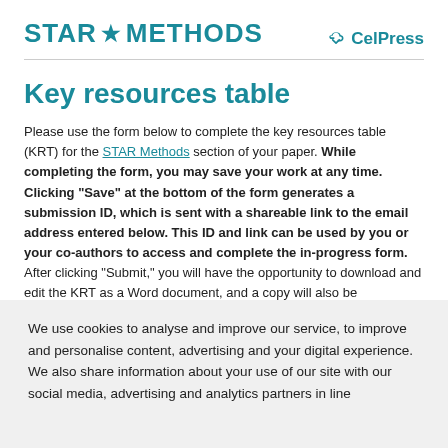STAR METHODS | CelPress
Key resources table
Please use the form below to complete the key resources table (KRT) for the STAR Methods section of your paper. While completing the form, you may save your work at any time. Clicking “Save” at the bottom of the form generates a submission ID, which is sent with a shareable link to the email address entered below. This ID and link can be used by you or your co-authors to access and complete the in-progress form. After clicking "Submit," you will have the opportunity to download and edit the KRT as a Word document, and a copy will also be
We use cookies to analyse and improve our service, to improve and personalise content, advertising and your digital experience. We also share information about your use of our site with our social media, advertising and analytics partners in line